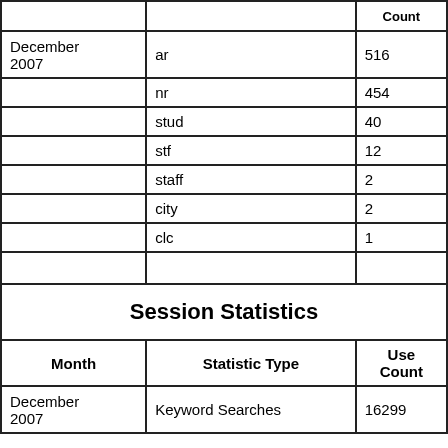| Month | Statistic Type | Count |
| --- | --- | --- |
| December 2007 | ar | 516 |
|  | nr | 454 |
|  | stud | 40 |
|  | stf | 12 |
|  | staff | 2 |
|  | city | 2 |
|  | clc | 1 |
Session Statistics
| Month | Statistic Type | Use Count |
| --- | --- | --- |
| December 2007 | Keyword Searches | 16299 |